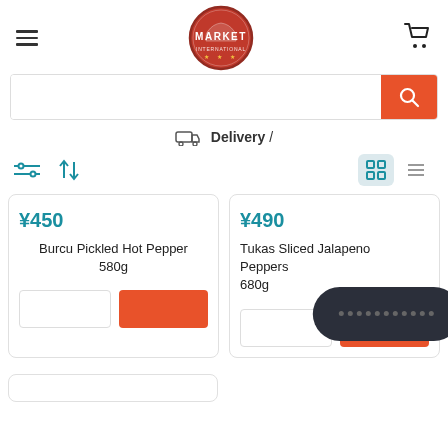Market International logo, hamburger menu, cart icon
Delivery /
Filter, Sort, Grid/List view toggles
¥450
Burcu Pickled Hot Pepper 580g
¥490
Tukas Sliced Jalapeno Peppers 680g